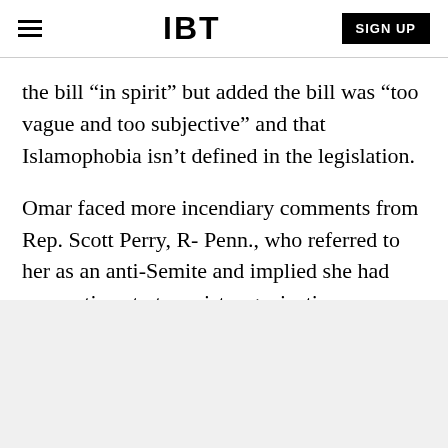IBT | SIGN UP
the bill “in spirit” but added the bill was “too vague and too subjective” and that Islamophobia isn’t defined in the legislation.
Omar faced more incendiary comments from Rep. Scott Perry, R- Penn., who referred to her as an anti-Semite and implied she had connections to terrorist organizations.